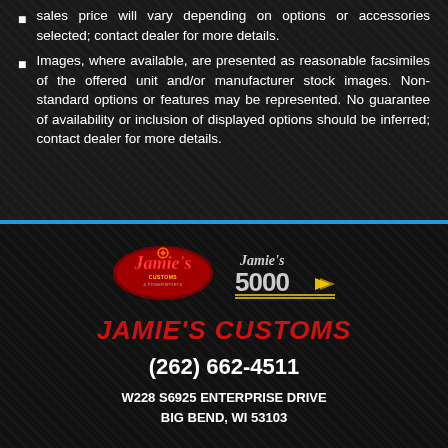sales price will vary depending on options or accessories selected; contact dealer for more details.
Images, where available, are presented as reasonable facsimiles of the offered unit and/or manufacturer stock images. Non-standard options or features may be represented. No guarantee of availability or inclusion of displayed options should be inferred; contact dealer for more details.
[Figure (logo): Jamie's Customs & Powersports logo (left) and Jamie's 5000 logo (right)]
JAMIE'S CUSTOMS
(262) 662-4511
W228 S6925 ENTERPRISE DRIVE
BIG BEND, WI 53103